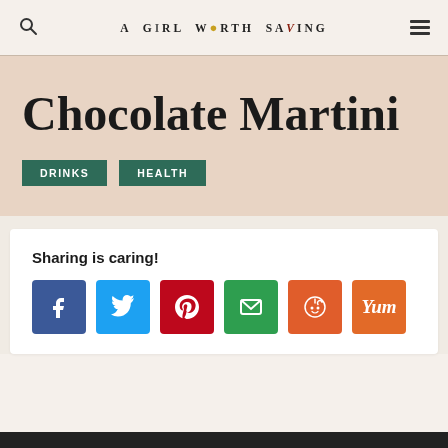A GIRL WORTH SAVING
Chocolate Martini
DRINKS
HEALTH
Sharing is caring!
[Figure (infographic): Row of six social share buttons: Facebook (blue), Twitter (light blue), Pinterest (red), Email (green), Reddit (orange), Yummly (orange)]